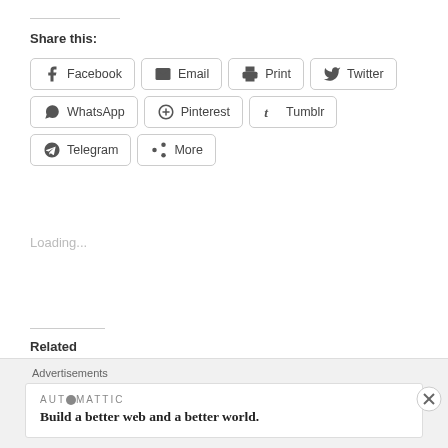Share this:
Facebook
Email
Print
Twitter
WhatsApp
Pinterest
Tumblr
Telegram
More
Loading...
Related
[Figure (photo): Two related article thumbnail images showing pink ribbon breast cancer awareness artwork on magenta background with teal decorative elements]
Advertisements
AUTOMATTIC
Build a better web and a better world.